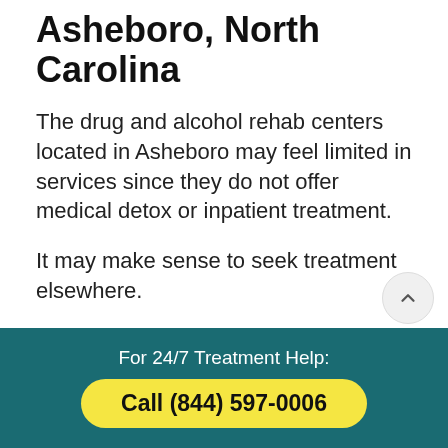Asheboro, North Carolina
The drug and alcohol rehab centers located in Asheboro may feel limited in services since they do not offer medical detox or inpatient treatment.
It may make sense to seek treatment elsewhere.
There are addiction treatment programs in nearby cities and throughout the United States.
If you are considering traveling for addiction
For 24/7 Treatment Help:
Call (844) 597-0006